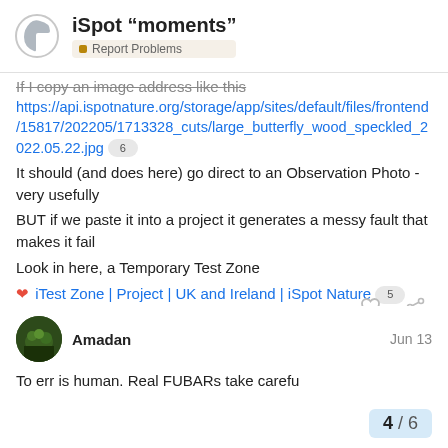iSpot “moments” - Report Problems
If I copy an image address like this
https://api.ispotnature.org/storage/app/sites/default/files/frontend/15817/202205/1713328_cuts/large_butterfly_wood_speckled_2022.05.22.jpg [6]
It should (and does here) go direct to an Observation Photo - very usefully
BUT if we paste it into a project it generates a messy fault that makes it fail
Look in here, a Temporary Test Zone
❤ iTest Zone | Project | UK and Ireland | iSpot Nature [5]
Please try one for yourself, save the link to the Image, past it IN iSpot for a laugh.
Amadan  Jun 13
To err is human. Real FUBARs take carefu